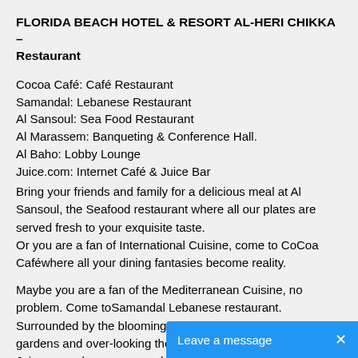FLORIDA BEACH HOTEL & RESORT AL-HERI CHIKKA – Restaurant
Cocoa Café: Café Restaurant
Samandal: Lebanese Restaurant
Al Sansoul: Sea Food Restaurant
Al Marassem: Banqueting & Conference Hall.
Al Baho: Lobby Lounge
Juice.com: Internet Café & Juice Bar
Bring your friends and family for a delicious meal at Al Sansoul, the Seafood restaurant where all our plates are served fresh to your exquisite taste.
Or you are a fan of International Cuisine, come to CoCoa Caféwhere all your dining fantasies become reality.
Maybe you are a fan of the Mediterranean Cuisine, no problem. Come toSamandal Lebanese restaurant. Surrounded by the blooming flowers of the ever green gardens and over-looking the gorgeous Mediterranean Sea.
Juice.com where you can chat away on the internet or check your e-mail while enjoying your favorite jui... 
Snack Bar